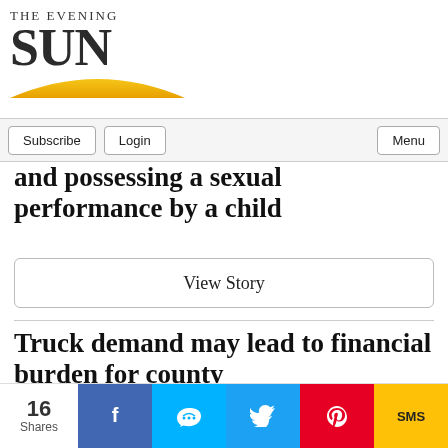[Figure (logo): The Evening Sun newspaper logo with large SUN text and yellow arc graphic]
Subscribe  Login  Menu
and possessing a sexual performance by a child
View Story
Truck demand may lead to financial burden for county
View Story
16 Shares